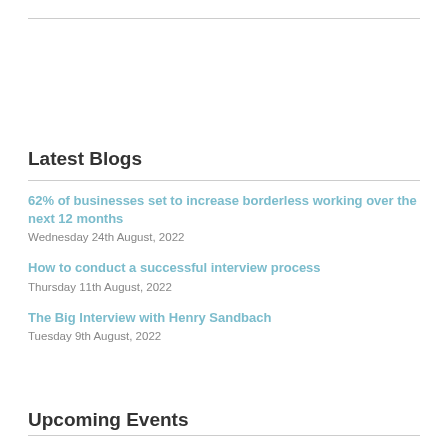Latest Blogs
62% of businesses set to increase borderless working over the next 12 months
Wednesday 24th August, 2022
How to conduct a successful interview process
Thursday 11th August, 2022
The Big Interview with Henry Sandbach
Tuesday 9th August, 2022
Upcoming Events